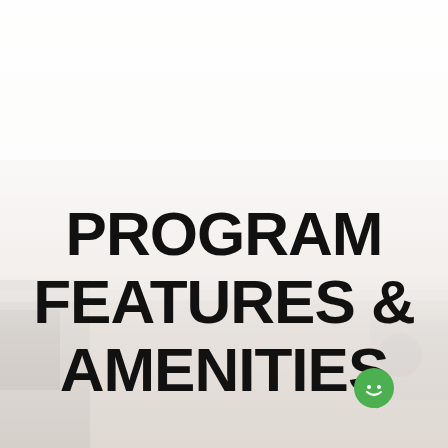[Figure (photo): Background photo of a coffee espresso machine being operated, faded with white overlay. A person's hands and barista equipment visible. A small round camera or device and a person's head visible at bottom right.]
PROGRAM FEATURES & AMENITIES
[Figure (illustration): Green speech bubble / chat icon with a smiley face, positioned at lower right of page]